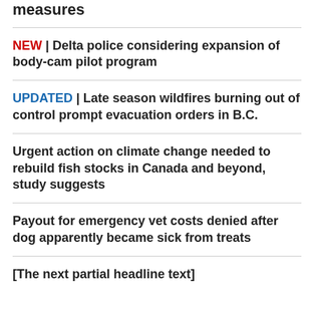measures
NEW | Delta police considering expansion of body-cam pilot program
UPDATED | Late season wildfires burning out of control prompt evacuation orders in B.C.
Urgent action on climate change needed to rebuild fish stocks in Canada and beyond, study suggests
Payout for emergency vet costs denied after dog apparently became sick from treats
[The next partial headline text]